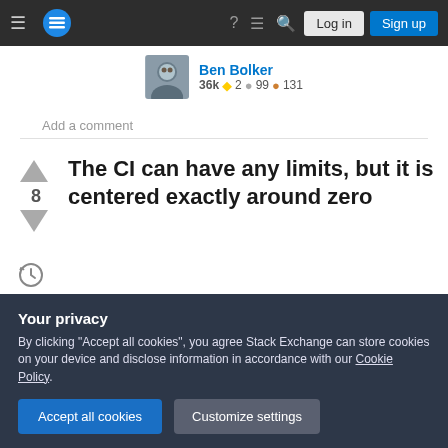Stack Exchange navigation bar with hamburger menu, logo, help, chat, search icons, Log in and Sign up buttons
Ben Bolker 36k ◆ 2 ● 99 ● 131
Add a comment
The CI can have any limits, but it is centered exactly around zero
For a two-sample T-test (testing for a difference in the means of two populations), a p-value of exactly
Your privacy
By clicking "Accept all cookies", you agree Stack Exchange can store cookies on your device and disclose information in accordance with our Cookie Policy.
Accept all cookies   Customize settings